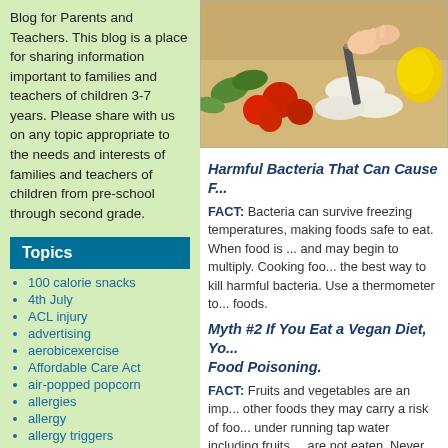Blog for Parents and Teachers. This blog is a place for sharing information important to families and teachers of children 3-7 years. Please share with us on any topic appropriate to the needs and interests of families and teachers of children from pre-school through second grade.
Topics
100 calorie snacks
4th July
ACL injury
advertising
aerobicexercise
Affordable Care Act
air-popped popcorn
allergies
allergy
allergy triggers
[Figure (photo): Photo of vegetables and mushrooms being prepared on a cutting board, with tomatoes and peppers visible]
Harmful Bacteria That Can Cause F...
FACT: Bacteria can survive freezing temperatures, making foods safe to eat. When food is ... and may begin to multiply. Cooking foo... the best way to kill harmful bacteria. Use a thermometer to... foods.
Myth #2 If You Eat a Vegan Diet, Yo... Food Poisoning.
FACT: Fruits and vegetables are an imp... other foods they may carry a risk of foo... under running tap water including fruits ... are not eaten. Never use detergent or b... as these products are not intended for c... vegetables labeled "ready-to-eat" or "wa...